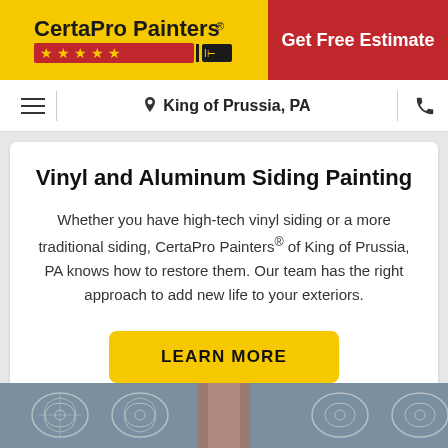[Figure (logo): CertaPro Painters logo with gold background, red stars, and text]
Get Free Estimate
King of Prussia, PA
Vinyl and Aluminum Siding Painting
Whether you have high-tech vinyl siding or a more traditional siding, CertaPro Painters® of King of Prussia, PA knows how to restore them. Our team has the right approach to add new life to your exteriors.
LEARN MORE
[Figure (photo): Decorative wallpaper pattern in grey/blue with ornate white damask design, and a paint roller]